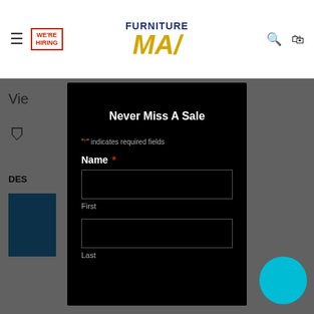FURNITURE MAX | WE'RE HIRING
Never Miss A Sale
"*" indicates required fields
Name *
First
Last